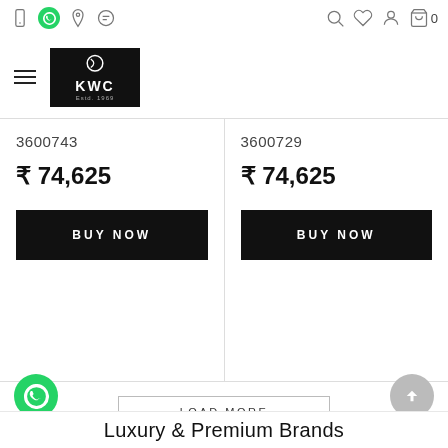KWC Estd. 1969 — navigation and icon bar
[Figure (logo): KWC brand logo: black box with stylized C/K icon, text KWC and Estd. 1969]
3600743
₹ 74,625
BUY NOW
3600729
₹ 74,625
BUY NOW
LOAD MORE
Luxury & Premium Brands